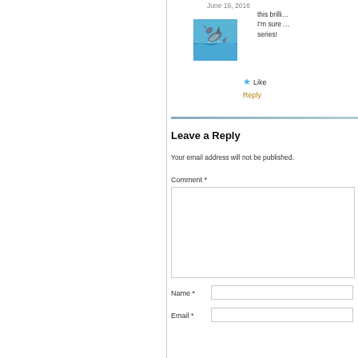June 16, 2016
[Figure (photo): Dolphin jumping out of blue ocean water]
this brilli… I'm sure … series!
★ Like
Reply
Leave a Reply
Your email address will not be published.
Comment *
Name *
Email *